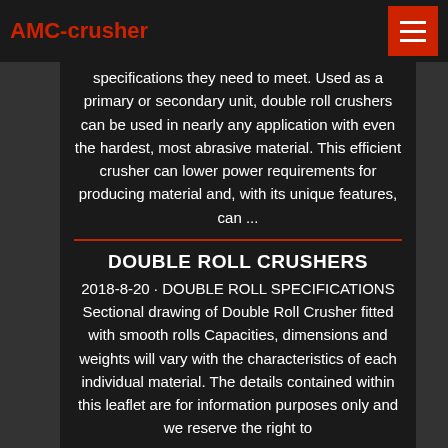AMC-crusher
specifications they need to meet. Used as a primary or secondary unit, double roll crushers can be used in nearly any application with even the hardest, most abrasive material. This efficient crusher can lower power requirements for producing material and, with its unique features, can ...
DOUBLE ROLL CRUSHERS
2018-8-20 · DOUBLE ROLL SPECIFICATIONS Sectional drawing of Double Roll Crusher fitted with smooth rolls Capacities, dimensions and weights will vary with the characteristics of each individual material. The details contained within this leaflet are for information purposes only and we reserve the right to